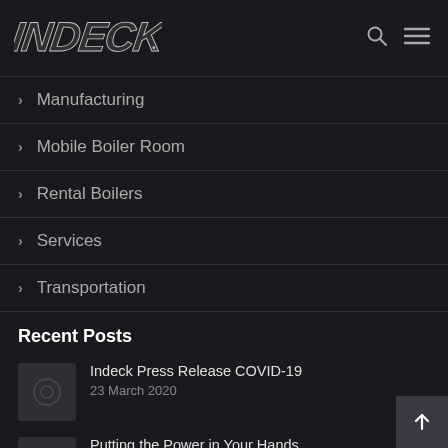[Figure (logo): INDECK logo in italic bold silver/white lettering on dark background]
Manufacturing
Mobile Boiler Room
Rental Boilers
Services
Transportation
Recent Posts
Indeck Press Release COVID-19
23 March 2020
Putting the Power in Your Hands